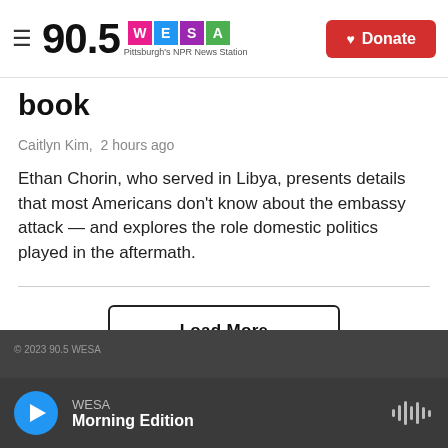90.5 WESA Pittsburgh's NPR News Station | Donate
book
Caitlyn Kim,  2 hours ago
Ethan Chorin, who served in Libya, presents details that most Americans don't know about the embassy attack — and explores the role domestic politics played in the aftermath.
Load More
WESA Morning Edition